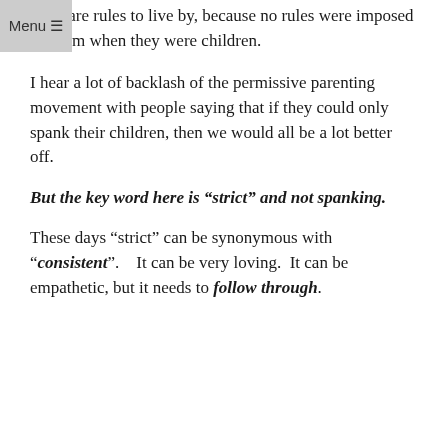there are rules to live by, because no rules were imposed on them when they were children.
I hear a lot of backlash of the permissive parenting movement with people saying that if they could only spank their children, then we would all be a lot better off.
But the key word here is “strict” and not spanking.
These days “strict” can be synonymous with “consistent”.   It can be very loving.  It can be empathetic, but it needs to follow through.